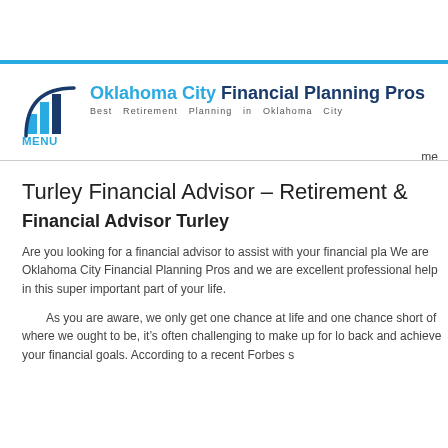[Figure (logo): Oklahoma City Financial Planning Pros logo with stylized bar chart icon and text 'Oklahoma City Financial Planning Pros - Best Retirement Planning in Oklahoma City']
MENU
Turley Financial Advisor – Retirement &
Financial Advisor Turley
Are you looking for a financial advisor to assist with your financial pla... We are Oklahoma City Financial Planning Pros and we are excellent professional help in this super important part of your life.
As you are aware, we only get one chance at life and one chance... short of where we ought to be, it's often challenging to make up for lo... back and achieve your financial goals. According to a recent Forbes s...